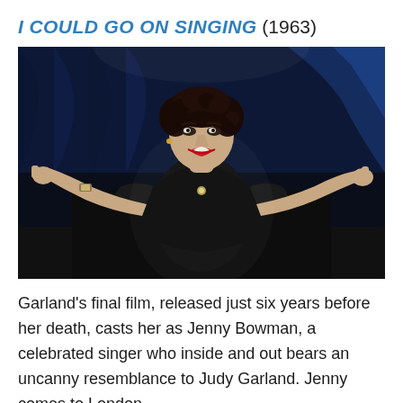I COULD GO ON SINGING (1963)
[Figure (photo): A woman in a black outfit with arms outstretched performing on stage, dark blue curtain background. She has short dark curly hair and is singing or performing with mouth open.]
Garland's final film, released just six years before her death, casts her as Jenny Bowman, a celebrated singer who inside and out bears an uncanny resemblance to Judy Garland. Jenny comes to London